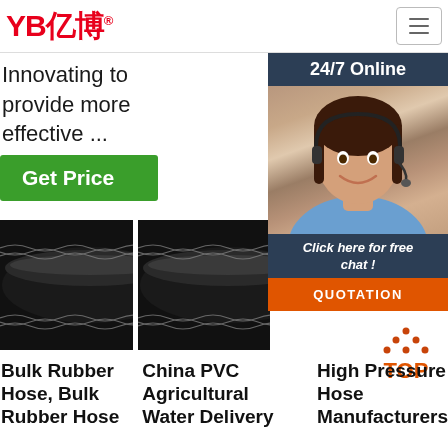[Figure (logo): YB亿博 company logo in red with registered trademark symbol]
[Figure (infographic): Hamburger menu button (three horizontal lines) in a bordered box]
Innovating to provide more effective ...
[Figure (infographic): Green 'Get Price' button]
[Figure (infographic): 24/7 Online chat panel with agent photo, 'Click here for free chat!' text, and orange QUOTATION button]
[Figure (photo): Black rubber hose - Bulk Rubber Hose product image]
[Figure (photo): Black PVC hose - China PVC Agricultural Water Delivery product image]
[Figure (infographic): TOP scroll-to-top button with orange text and dotted triangle icon]
Bulk Rubber Hose, Bulk Rubber Hose
China PVC Agricultural Water Delivery
High Pressure Hose Manufacturers